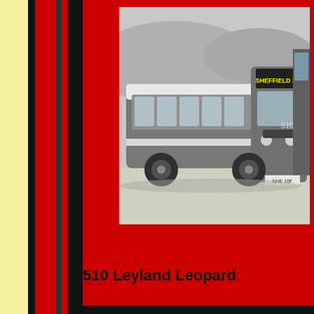[Figure (photo): Black and white photograph of a bus numbered 510, a Leyland Leopard, with destination board showing 'SHEFFIELD X 34'. The bus has registration plate 'NHE 10F'. Another double-decker bus is partially visible on the right. The scene is set in an open area with hills in the background.]
510 Leyland Leopard